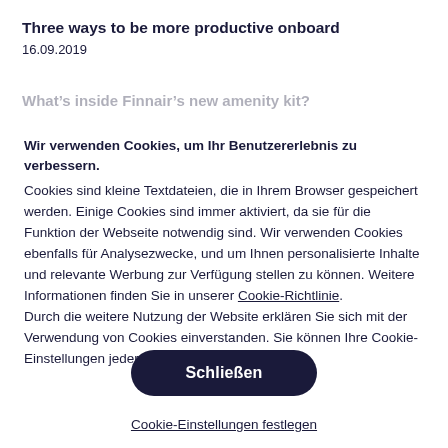Three ways to be more productive onboard
16.09.2019
What’s inside Finnair’s new amenity kit?
Wir verwenden Cookies, um Ihr Benutzererlebnis zu verbessern. Cookies sind kleine Textdateien, die in Ihrem Browser gespeichert werden. Einige Cookies sind immer aktiviert, da sie für die Funktion der Webseite notwendig sind. Wir verwenden Cookies ebenfalls für Analysezwecke, und um Ihnen personalisierte Inhalte und relevante Werbung zur Verfügung stellen zu können. Weitere Informationen finden Sie in unserer Cookie-Richtlinie.
Durch die weitere Nutzung der Website erklären Sie sich mit der Verwendung von Cookies einverstanden. Sie können Ihre Cookie-Einstellungen jederzeit ändern.
Schließen
Cookie-Einstellungen festlegen